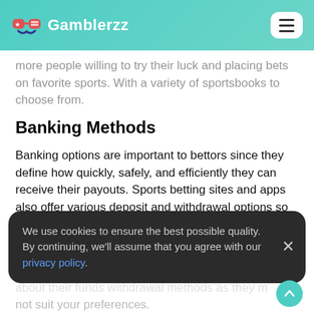Gamblerzz
more people willing to try their luck and placing bets on favorite sports. With a variety of sportsbooks to choose from.
Banking Methods
Banking options are important to bettors since they define how quickly, safely, and efficiently they can receive their payouts. Sports betting sites and apps also offer various deposit and withdrawal options so that bettors can choose the banking method of
We use cookies to ensure the best possible quality. By continuing, we'll assume that you agree with our privacy policy.
for an account with a sportsbook, you should learn about their funds withdrawal methods as they m... not suit your preferences.